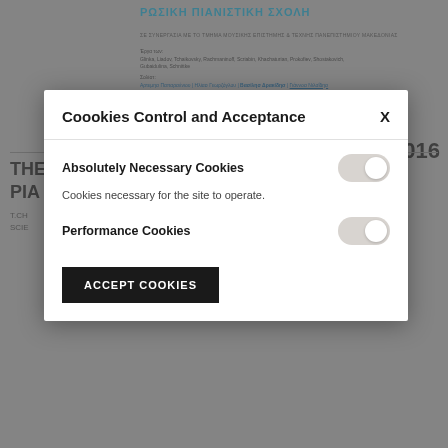ΡΩΣΙΚΗ ΠΙΑΝΙΣΤΙΚΗ ΣΧΟΛΗ
ΣΕ ΣΥΝΕΡΓΑΣΙΑ ΜΕ ΤΟ ΤΜΗΜΑ ΜΟΥΣΙΚΗΣ ΕΠΙΣΤΗΜΗΣ & ΤΕΧΝΗΣ ΠΑΝΕΠΙΣΤΗΜΙΟΥ ΜΑΚΕΔΟΝΙΑΣ
Έργα των: Glinka, Liadov, Tchaikovsky, Rachmaninoff, Scriabin, Khachaturian, Prokofiev, Shostakovich, Gubaidulina, Schnittke
Σολίστ: Αρτεμησ Παπαρσένιου | Ηλίασ Γεωρζόγλου | Βασίλησ Δρακίδησ | Γιάννοσ Νιλαΐδησ
2016
THE RUSSIAN PIANO SCHOOL
TCHAIKOVSKY
SCIENTIFIC CONCERT
Coookies Control and Acceptance
X
Absolutely Necessary Cookies
Cookies necessary for the site to operate.
Performance Cookies
ACCEPT COOKIES